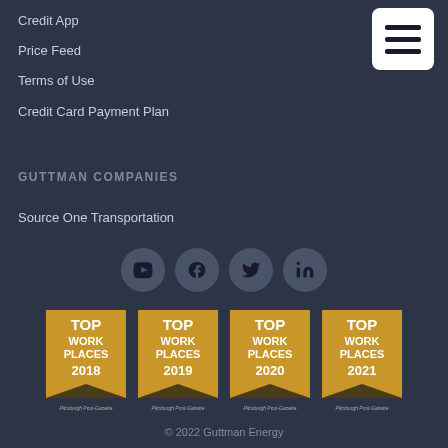Credit App
Price Feed
Terms of Use
Credit Card Payment Plan
GUTTMAN COMPANIES
Source One Transportation
[Figure (infographic): Social media icons: YouTube, Facebook, Twitter, LinkedIn in circular buttons]
[Figure (infographic): Four Top Work Places award badges for 2018, 2019, 2020, 2021 by Pittsburgh Post-Gazette]
© 2022 Guttman Energy